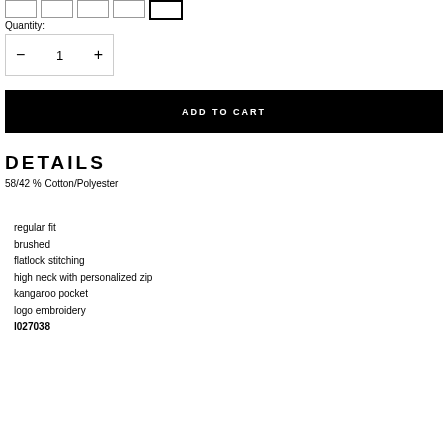Quantity:
− 1 +
ADD TO CART
DETAILS
58/42 % Cotton/Polyester
regular fit
brushed
flatlock stitching
high neck with personalized zip
kangaroo pocket
logo embroidery
l027038